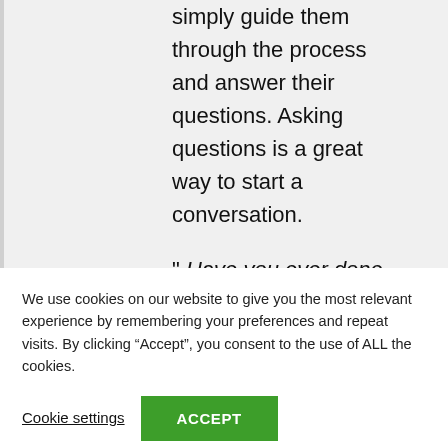simply guide them through the process and answer their questions. Asking questions is a great way to start a conversation.
" Have you ever done any planning for life insurance?
We use cookies on our website to give you the most relevant experience by remembering your preferences and repeat visits. By clicking “Accept”, you consent to the use of ALL the cookies.